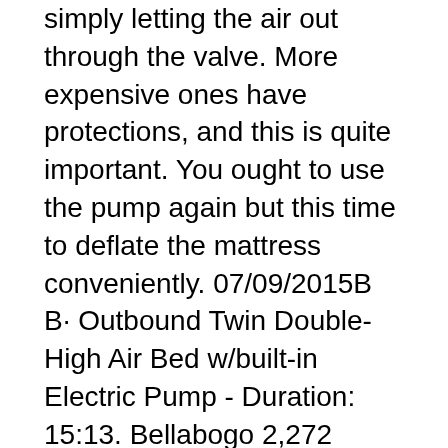simply letting the air out through the valve. More expensive ones have protections, and this is quite important. You ought to use the pump again but this time to deflate the mattress conveniently. 07/09/2015В В· Outbound Twin Double-High Air Bed w/built-in Electric Pump - Duration: 15:13. Bellabogo 2,272 views. 15:13. How to Inflate an Air Mattress in 3 Breaths or Less - Duration: 5:34.
Outbound Twin Double-High Air Bed with Built in Electric Pump (New) SKU# 203637H Sleep comfortably in this Outbound air bed that features a built-in air pump! Great for вЂ¦ Image: Quality Double Flocked Air Bed with built in